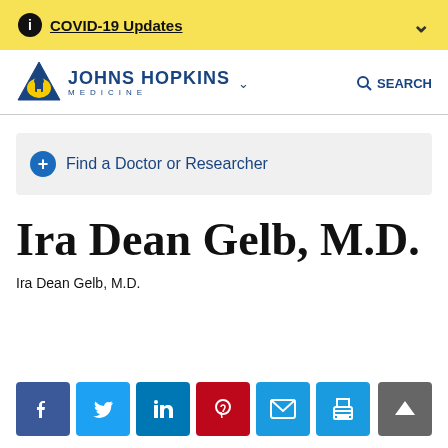COVID-19 Updates
[Figure (logo): Johns Hopkins Medicine logo with text and navigation search bar]
Find a Doctor or Researcher
Ira Dean Gelb, M.D.
Ira Dean Gelb, M.D.
[Figure (infographic): Social sharing buttons: Facebook, Twitter, LinkedIn, Pinterest, Email, Print; and a back-to-top arrow button]